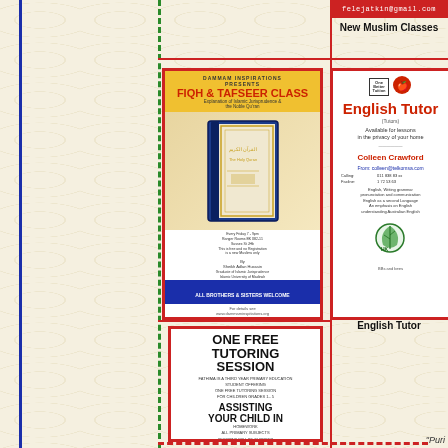felejatkin@gmail.com
New Muslim Classes
[Figure (illustration): FIQH & TAFSEER CLASS poster with book image, yellow header, blue bottom bar, WANNAS logo]
[Figure (illustration): English Tutor flyer for Colleen Crawford with red title, leaf logo, contact details]
English Tutor
[Figure (illustration): ONE FREE TUTORING SESSION poster by Fathima Adat for children grades 1-5, contact 0413 065 567 or FATHIMA.ADAT@HOTMAIL.COM]
"Puri